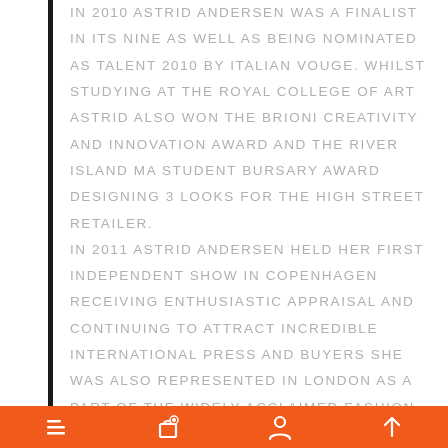IN 2010 ASTRID ANDERSEN WAS A FINALIST IN ITS NINE AS WELL AS BEING NOMINATED AS TALENT 2010 BY ITALIAN VOUGE. WHILST STUDYING AT THE ROYAL COLLEGE OF ART ASTRID ALSO WON THE BRIONI CREATIVITY AND INNOVATION AWARD AND THE RIVER ISLAND MA STUDENT BURSARY AWARD DESIGNING 3 LOOKS FOR THE HIGH STREET RETAILER. IN 2011 ASTRID ANDERSEN HELD HER FIRST INDEPENDENT SHOW IN COPENHAGEN RECEIVING ENTHUSIASTIC APPRAISAL AND CONTINUING TO ATTRACT INCREDIBLE INTERNATIONAL PRESS AND BUYERS SHE WAS ALSO REPRESENTED IN LONDON AS A PART OF THE WIDELY ACCLAIMED FASHION EAST.
Navigation bar with menu, bag, profile, and scroll-to-top icons